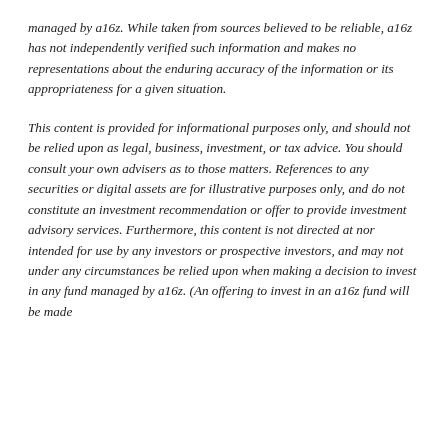managed by a16z. While taken from sources believed to be reliable, a16z has not independently verified such information and makes no representations about the enduring accuracy of the information or its appropriateness for a given situation.
This content is provided for informational purposes only, and should not be relied upon as legal, business, investment, or tax advice. You should consult your own advisers as to those matters. References to any securities or digital assets are for illustrative purposes only, and do not constitute an investment recommendation or offer to provide investment advisory services. Furthermore, this content is not directed at nor intended for use by any investors or prospective investors, and may not under any circumstances be relied upon when making a decision to invest in any fund managed by a16z. (An offering to invest in an a16z fund will be made only by the private placement memorandum, subscription agreement, and other relevant documentation of any such fund and should be read in their entirety.